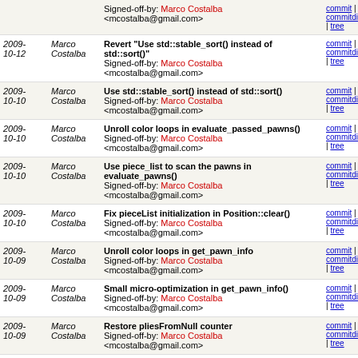| Date | Author | Message | Links |
| --- | --- | --- | --- |
|  |  | Signed-off-by: Marco Costalba <mcostalba@gmail.com> | commit | commitdiff | tree |
| 2009-10-12 | Marco Costalba | Revert "Use std::stable_sort() instead of std::sort()"
Signed-off-by: Marco Costalba <mcostalba@gmail.com> | commit | commitdiff | tree |
| 2009-10-10 | Marco Costalba | Use std::stable_sort() instead of std::sort()
Signed-off-by: Marco Costalba <mcostalba@gmail.com> | commit | commitdiff | tree |
| 2009-10-10 | Marco Costalba | Unroll color loops in evaluate_passed_pawns()
Signed-off-by: Marco Costalba <mcostalba@gmail.com> | commit | commitdiff | tree |
| 2009-10-10 | Marco Costalba | Use piece_list to scan the pawns in evaluate_pawns()
Signed-off-by: Marco Costalba <mcostalba@gmail.com> | commit | commitdiff | tree |
| 2009-10-10 | Marco Costalba | Fix pieceList initialization in Position::clear()
Signed-off-by: Marco Costalba <mcostalba@gmail.com> | commit | commitdiff | tree |
| 2009-10-09 | Marco Costalba | Unroll color loops in get_pawn_info
Signed-off-by: Marco Costalba <mcostalba@gmail.com> | commit | commitdiff | tree |
| 2009-10-09 | Marco Costalba | Small micro-optimization in get_pawn_info()
Signed-off-by: Marco Costalba <mcostalba@gmail.com> | commit | commitdiff | tree |
| 2009-10-09 | Marco Costalba | Restore pliesFromNull counter
Signed-off-by: Marco Costalba | commit | commitdiff | tree |